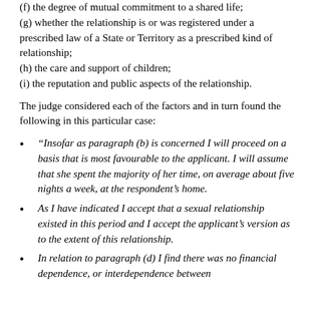(f) the degree of mutual commitment to a shared life;
(g) whether the relationship is or was registered under a prescribed law of a State or Territory as a prescribed kind of relationship;
(h) the care and support of children;
(i) the reputation and public aspects of the relationship.
The judge considered each of the factors and in turn found the following in this particular case:
“Insofar as paragraph (b) is concerned I will proceed on a basis that is most favourable to the applicant. I will assume that she spent the majority of her time, on average about five nights a week, at the respondent’s home.
As I have indicated I accept that a sexual relationship existed in this period and I accept the applicant’s version as to the extent of this relationship.
In relation to paragraph (d) I find there was no financial dependence, or interdependence between